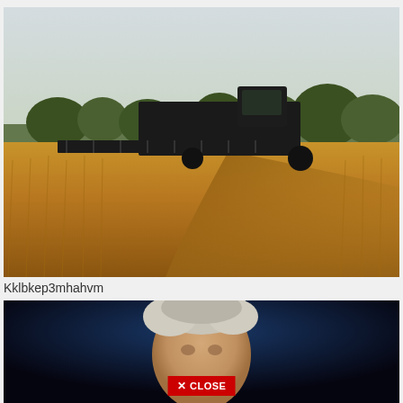[Figure (photo): A combine harvester working in a golden wheat field at sunset, with trees visible in the background and pale sky above.]
Kklbkep3mhahvm
[Figure (photo): Close-up portrait of an elderly person with white/grey hair against a dark blue background, with a red 'X CLOSE' button overlay at the bottom center.]